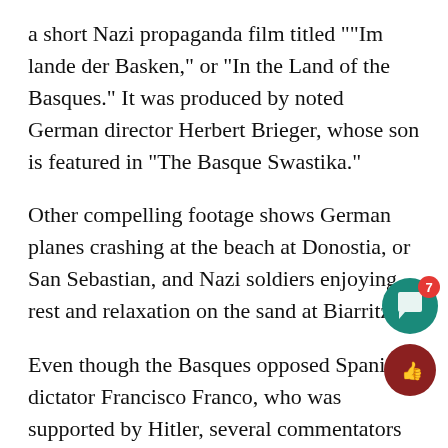a short Nazi propaganda film titled "“Im lande der Basken,” or “In the Land of the Basques.”  It was produced by noted German director Herbert Brieger, whose son is featured in “The Basque Swastika.”
Other compelling footage shows German planes crashing at the beach at Donostia, or San Sebastian, and Nazi soldiers enjoying rest and relaxation on the sand at Biarritz.
Even though the Basques opposed Spanish dictator Francisco Franco, who was supported by Hitler, several commentators in the documentary say that the Nazis viewed the Basques as one of Europe’s  “purer” races.  The Basques were nei… French nor Spanish, which in the view of some Nazis meant that they were not tainted by impurities of other cultures, according to the film.